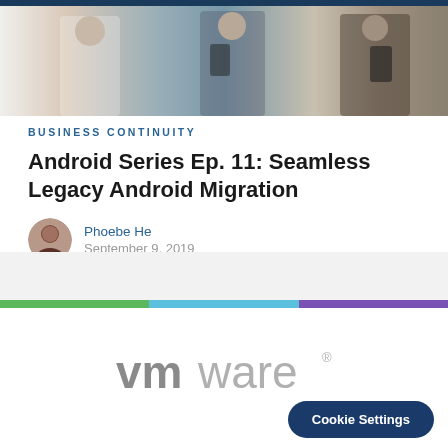[Figure (photo): Hero image showing two people with mobile devices in a bright office/corridor setting]
Business Continuity
Android Series Ep. 11: Seamless Legacy Android Migration
Phoebe He
September 9, 2019
[Figure (logo): VMware logo in gray]
Cookie Settings